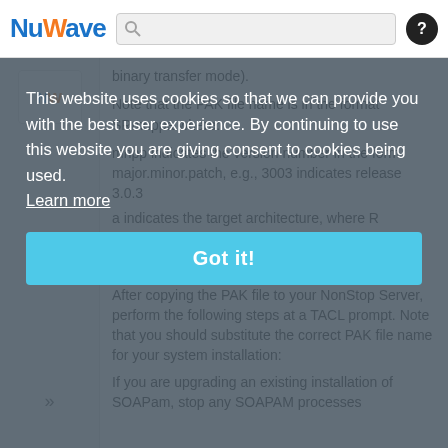NuWave [search bar] [help button]
binary transfer mode).
Note that the PAK file name is in the format SRmnppa where:
mnpp indicates the version number in the form major.minor.patch, e.g., 3003 indicates release 3.0.3
a indicates the target architecture, where R indicates TNS/R and E indicates TNS/E.
Extracting the Release Files
After copying the PAK file to your NonStop Server, perform the following steps at a TACL prompt. Note that you should substitute the correct PAK file name for your system installation:
If you are upgrading an existing installation of SOAPam, stop any SOAPAM processes
This website uses cookies so that we can provide you with the best user experience. By continuing to use this website you are giving consent to cookies being used.
Learn more
Got it!